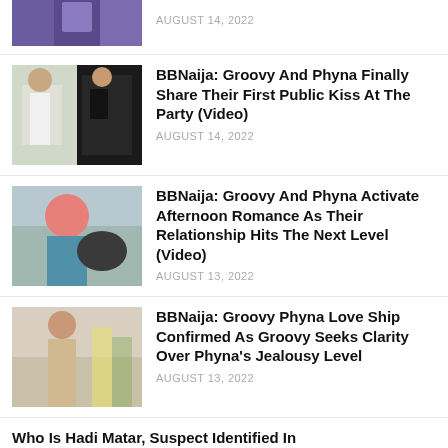[Figure (photo): Partial thumbnail of a person in purple jacket, cropped at top]
AUGUST 14, 2022
[Figure (photo): Two people outdoors, one in white outfit and one in dark outfit]
BBNaija: Groovy And Phyna Finally Share Their First Public Kiss At The Party (Video)
AUGUST 14, 2022
[Figure (photo): Person with pink/red hair close up with another person]
BBNaija: Groovy And Phyna Activate Afternoon Romance As Their Relationship Hits The Next Level (Video)
AUGUST 13, 2022
[Figure (photo): Person in beige/cream outfit posing outdoors]
BBNaija: Groovy Phyna Love Ship Confirmed As Groovy Seeks Clarity Over Phyna's Jealousy Level
AUGUST 13, 2022
Who Is Hadi Matar, Suspect Identified In